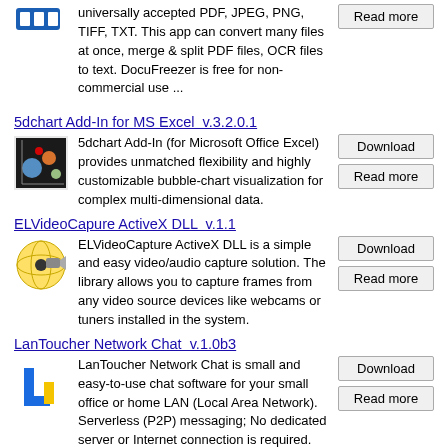universally accepted PDF, JPEG, PNG, TIFF, TXT. This app can convert many files at once, merge & split PDF files, OCR files to text. DocuFreezer is free for non-commercial use ...
5dchart Add-In for MS Excel  v.3.2.0.1
5dchart Add-In (for Microsoft Office Excel) provides unmatched flexibility and highly customizable bubble-chart visualization for complex multi-dimensional data.
ELVideoCapure ActiveX DLL  v.1.1
ELVideoCapture ActiveX DLL is a simple and easy video/audio capture solution. The library allows you to capture frames from any video source devices like webcams or tuners installed in the system.
LanToucher Network Chat  v.1.0b3
LanToucher Network Chat is small and easy-to-use chat software for your small office or home LAN (Local Area Network). Serverless (P2P) messaging; No dedicated server or Internet connection is required.